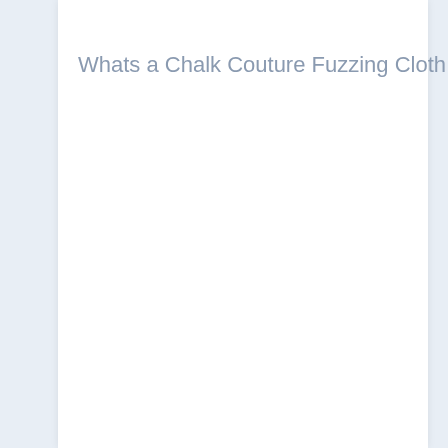Whats a Chalk Couture Fuzzing Cloth